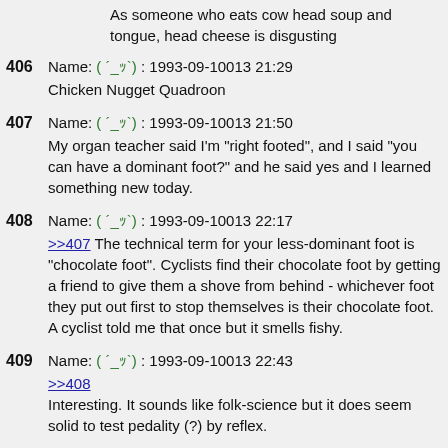As someone who eats cow head soup and tongue, head cheese is disgusting
406  Name: ( ´_ｯ`) : 1993-09-10013 21:29
Chicken Nugget Quadroon
407  Name: ( ´_ｯ`) : 1993-09-10013 21:50
My organ teacher said I'm "right footed", and I said "you can have a dominant foot?" and he said yes and I learned something new today.
408  Name: ( ´_ｯ`) : 1993-09-10013 22:17
>>407 The technical term for your less-dominant foot is "chocolate foot". Cyclists find their chocolate foot by getting a friend to give them a shove from behind - whichever foot they put out first to stop themselves is their chocolate foot. A cyclist told me that once but it smells fishy.
409  Name: ( ´_ｯ`) : 1993-09-10013 22:43
>>408
Interesting. It sounds like folk-science but it does seem solid to test pedality (?) by reflex.